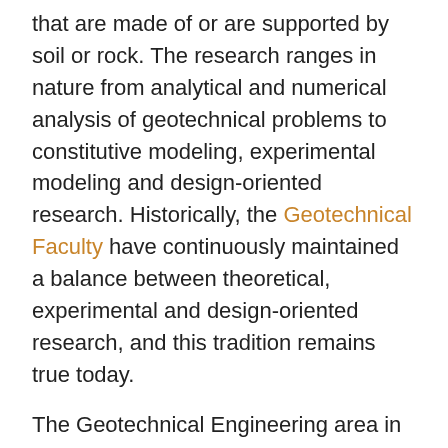that are made of or are supported by soil or rock. The research ranges in nature from analytical and numerical analysis of geotechnical problems to constitutive modeling, experimental modeling and design-oriented research. Historically, the Geotechnical Faculty have continuously maintained a balance between theoretical, experimental and design-oriented research, and this tradition remains true today.
The Geotechnical Engineering area in Civil Engineering is relatively unstructured and provides freedom for students and their graduate committees to develop a plan of study that will meet individual goals. A broad range of courses are available in the areas of geotechnical engineering as well as other areas of civil engineering. Additionally, it is possible for students to take courses in geology, mathematics, chemistry, agronomy and other engineering disciplines. The Geotechnical Facilities provide means for undergraduate and graduate students to examine the